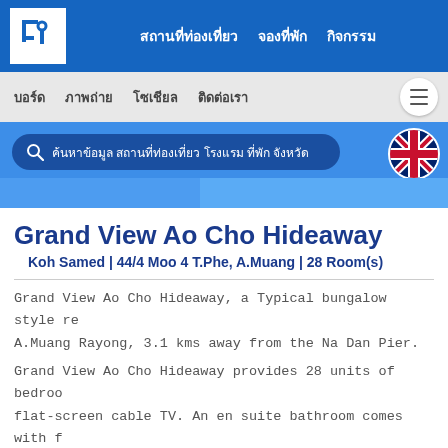สถานที่ท่องเที่ยว | จองที่พัก | กิจกรรม
บอร์ด | ภาพถ่าย | โซเชียล | ติดต่อเรา
Grand View Ao Cho Hideaway
Koh Samed | 44/4 Moo 4 T.Phe, A.Muang | 28 Room(s)
Grand View Ao Cho Hideaway, a Typical bungalow style resort located at A.Muang Rayong, 3.1 kms away from the Na Dan Pier.
Grand View Ao Cho Hideaway provides 28 units of bedroom including flat-screen cable TV. An en suite bathroom comes with f...
Other service facilities consist of car park, front desk, res... available in the entire area.